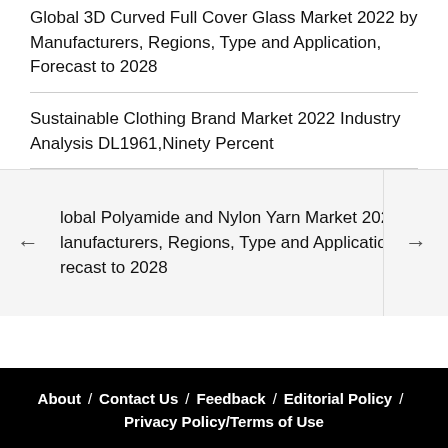Global 3D Curved Full Cover Glass Market 2022 by Manufacturers, Regions, Type and Application, Forecast to 2028
Sustainable Clothing Brand Market 2022 Industry Analysis DL1961,Ninety Percent
lobal Polyamide and Nylon Yarn Market 2022 by lanufacturers, Regions, Type and Application, recast to 2028
About / Contact Us / Feedback / Editorial Policy / Privacy Policy / Terms of Use